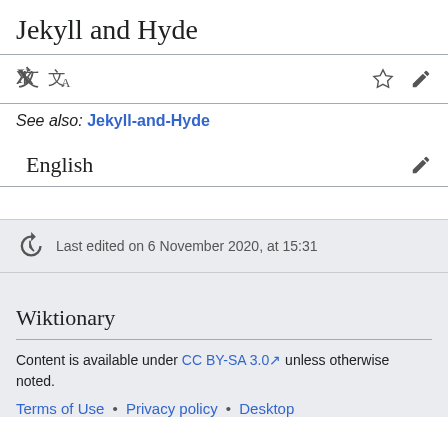Jekyll and Hyde
See also: Jekyll-and-Hyde
English
Last edited on 6 November 2020, at 15:31
Wiktionary
Content is available under CC BY-SA 3.0 unless otherwise noted.
Terms of Use • Privacy policy • Desktop